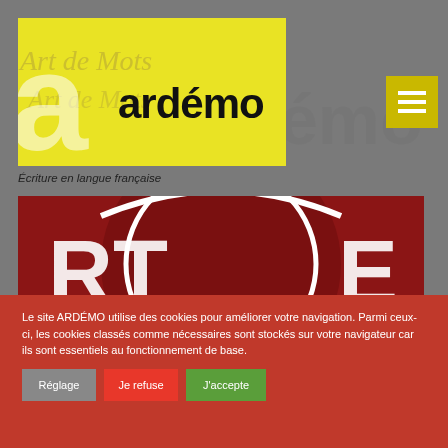[Figure (logo): ARDEMO logo — yellow rectangular background with large stylized letter 'a' in yellow, and the word 'ardémo' in bold black sans-serif text. Background watermark text 'Art de Mots' in italic gray.]
[Figure (other): Hamburger/menu icon button in yellow-gold square, white horizontal lines]
Écriture en langue française
[Figure (photo): Close-up of a dark red circular logo/seal with white text letters 'RT' on left and 'E' on right partially visible]
Le site ARDÉMO utilise des cookies pour améliorer votre navigation. Parmi ceux-ci, les cookies classés comme nécessaires sont stockés sur votre navigateur car ils sont essentiels au fonctionnement de base.
Réglage
Je refuse
J'accepte